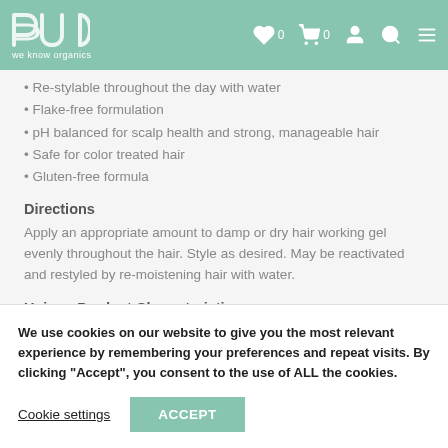bud - we know organics
Re-stylable throughout the day with water
Flake-free formulation
pH balanced for scalp health and strong, manageable hair
Safe for color treated hair
Gluten-free formula
Directions
Apply an appropriate amount to damp or dry hair working gel evenly throughout the hair. Style as desired. May be reactivated and restyled by re-moistening hair with water.
Unique Product Characteristics
We use cookies on our website to give you the most relevant experience by remembering your preferences and repeat visits. By clicking “Accept”, you consent to the use of ALL the cookies.